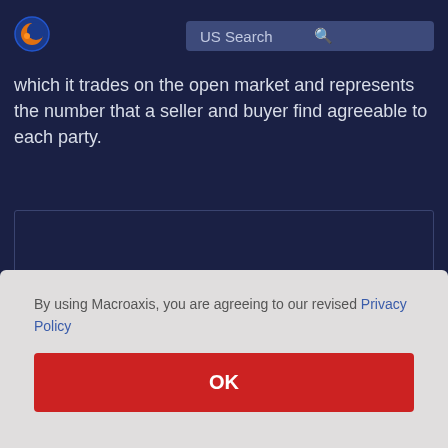[Figure (logo): Macroaxis globe logo with orange and blue colors]
US Search
which it trades on the open market and represents the number that a seller and buyer find agreeable to each party.
By using Macroaxis, you are agreeing to our revised Privacy Policy
OK